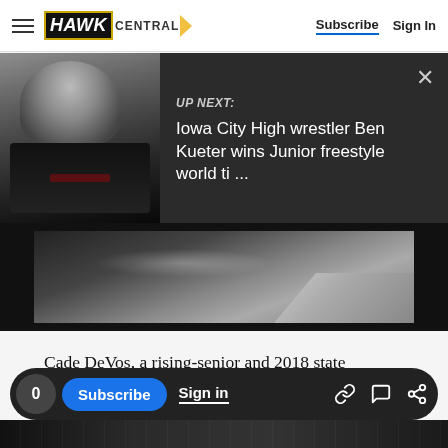HAWK CENTRAL — Subscribe | Sign In
[Figure (screenshot): UP NEXT banner with thumbnail photo of a wrestler with medal, dark background. Text: UP NEXT: Iowa City High wrestler Ben Kueter wins Junior freestyle world ti ...]
[Figure (screenshot): Dark video player area showing a dark angular shape, partially visible]
Cade DeVos, a rising-senior and 2018 state champion for Southeast Polk, took seventh at 145. DeVos, a cadet All-American in both freestyle and Greco-Roman last year, reached the round of 16, then battled back to medal through the
0  Subscribe  Sign in  [share icons]